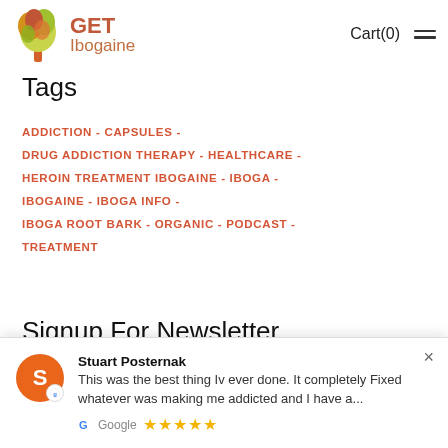GET Ibogaine  Cart(0)
Tags
ADDICTION - CAPSULES -
DRUG ADDICTION THERAPY - HEALTHCARE -
HEROIN TREATMENT IBOGAINE - IBOGA -
IBOGAINE - IBOGA INFO -
IBOGA ROOT BARK - ORGANIC - PODCAST -
TREATMENT
Signup For Newsletter
Stuart Posternak
This was the best thing Iv ever done. It completely Fixed whatever was making me addicted and I have a...
Google ★★★★★